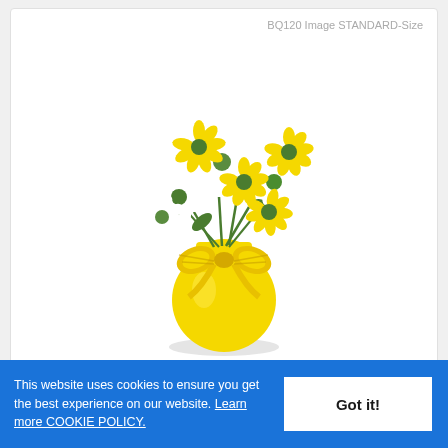BQ120 Image STANDARD-Size
[Figure (photo): A bouquet of white and yellow daisy flowers arranged in a round yellow vase with a yellow gingham bow ribbon tied around it.]
100% White and Yellow Daisy...
This website uses cookies to ensure you get the best experience on our website. Learn more COOKIE POLICY.
Got it!